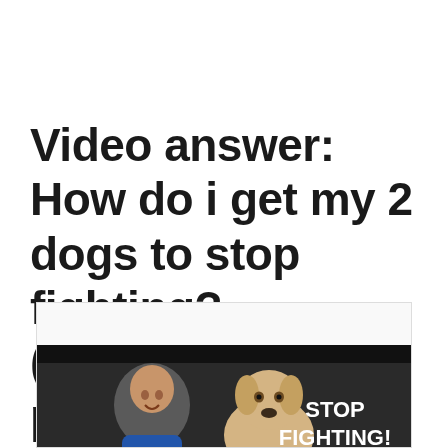Video answer: How do i get my 2 dogs to stop fighting? (answering a patreon…
[Figure (screenshot): Video thumbnail showing a man smiling and a yellow Labrador dog with the text 'STOP FIGHTING!' on a dark background]